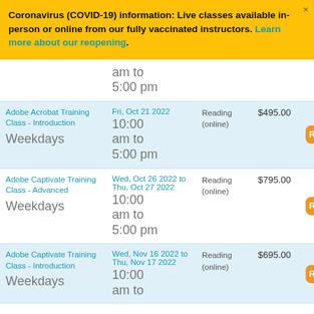Coronavirus (COVID-19) information: Live classes available in-person or online from our fully vaccinated instructors. Learn more about our reopening.
| Course | Date | Location | Price | Action |
| --- | --- | --- | --- | --- |
| Adobe Acrobat Training Class - Introduction Weekdays | Fri, Oct 21 2022 10:00 am to 5:00 pm | Reading (online) | $495.00 | Register |
| Adobe Captivate Training Class - Advanced Weekdays | Wed, Oct 26 2022 to Thu, Oct 27 2022 10:00 am to 5:00 pm | Reading (online) | $795.00 | Register |
| Adobe Captivate Training Class - Introduction Weekdays | Wed, Nov 16 2022 to Thu, Nov 17 2022 10:00 am to | Reading (online) | $695.00 | Register |